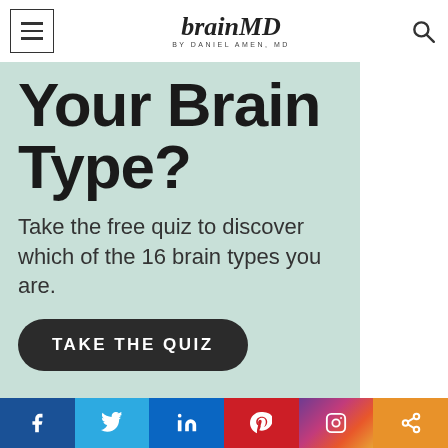BrainMD by Daniel Amen, MD
Your Brain Type?
Take the free quiz to discover which of the 16 brain types you are.
TAKE THE QUIZ
[Figure (infographic): Social share bar with Facebook, Twitter, LinkedIn, Pinterest, Instagram, and Share icons]